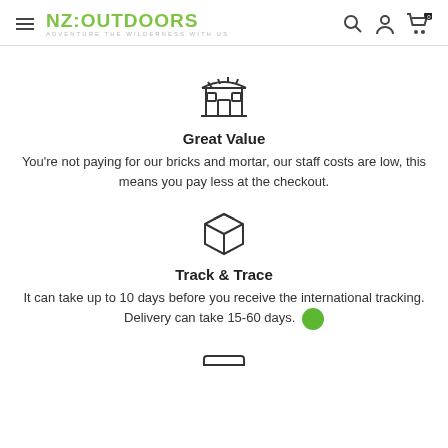NZ:OUTDOORS — ADVENTURE THE WILDERNESS WITH US
[Figure (illustration): Store/shop building icon with awning and display windows]
Great Value
You're not paying for our bricks and mortar, our staff costs are low, this means you pay less at the checkout.
[Figure (illustration): Package/parcel box icon with delivery lines]
Track & Trace
It can take up to 10 days before you receive the international tracking. Delivery can take 15-60 days.
[Figure (illustration): Credit card / payment icon (partially visible at bottom)]